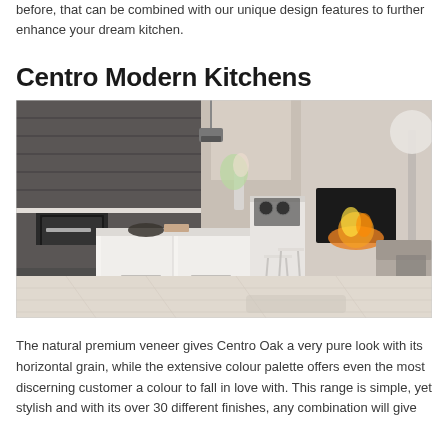before, that can be combined with our unique design features to further enhance your dream kitchen.
Centro Modern Kitchens
[Figure (photo): Modern kitchen showroom photo featuring dark wood-grain upper cabinets, a white kitchen island with bar stools, built-in appliances, and an open-plan living area with a fireplace and sofa in the background.]
The natural premium veneer gives Centro Oak a very pure look with its horizontal grain, while the extensive colour palette offers even the most discerning customer a colour to fall in love with. This range is simple, yet stylish and with its over 30 different finishes, any combination will give